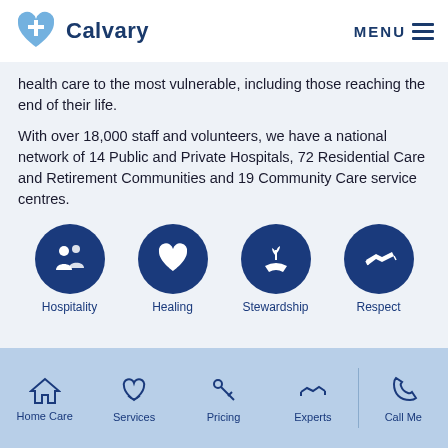Calvary | MENU
health care to the most vulnerable, including those reaching the end of their life.
With over 18,000 staff and volunteers, we have a national network of 14 Public and Private Hospitals, 72 Residential Care and Retirement Communities and 19 Community Care service centres.
[Figure (infographic): Four dark blue circular icons representing Calvary's values: Hospitality (two people figures), Healing (heart), Stewardship (hand with plant), Respect (handshake). Each icon is labeled below in blue text.]
Home Care | Services | Pricing | Experts | Call Me